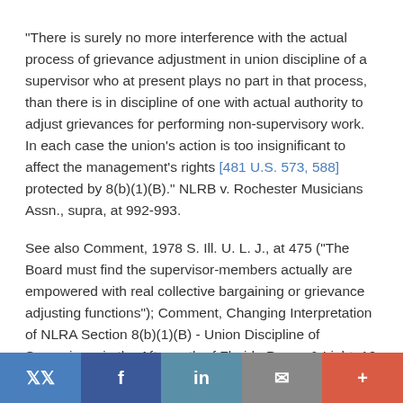"There is surely no more interference with the actual process of grievance adjustment in union discipline of a supervisor who at present plays no part in that process, than there is in discipline of one with actual authority to adjust grievances for performing non-supervisory work. In each case the union's action is too insignificant to affect the management's rights [481 U.S. 573, 588]   protected by 8(b)(1)(B)." NLRB v. Rochester Musicians Assn., supra, at 992-993.
See also Comment, 1978 S. Ill. U. L. J., at 475 ("The Board must find the supervisor-members actually are empowered with real collective bargaining or grievance adjusting functions"); Comment, Changing Interpretation of NLRA Section 8(b)(1)(B) - Union Discipline of Supervisors in the Aftermath of Florida Power & Light, 10 John Marshall J.
Twitter | Facebook | LinkedIn | Email | More